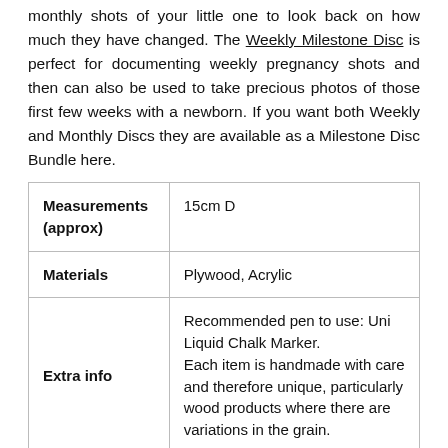monthly shots of your little one to look back on how much they have changed. The Weekly Milestone Disc is perfect for documenting weekly pregnancy shots and then can also be used to take precious photos of those first few weeks with a newborn. If you want both Weekly and Monthly Discs they are available as a Milestone Disc Bundle here.
| Measurements (approx) | 15cm D |
| Materials | Plywood, Acrylic |
| Extra info | Recommended pen to use: Uni Liquid Chalk Marker.
Each item is handmade with care and therefore unique, particularly wood products where there are variations in the grain. |